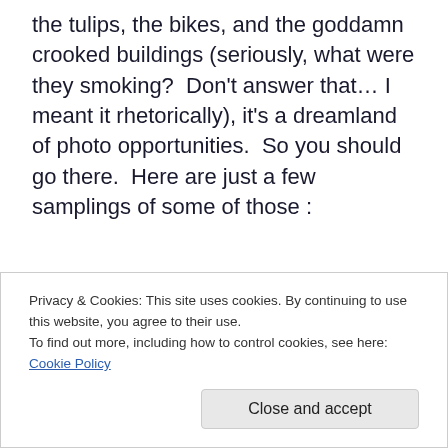the tulips, the bikes, and the goddamn crooked buildings (seriously, what were they smoking?  Don't answer that… I meant it rhetorically), it's a dreamland of photo opportunities.  So you should go there.  Here are just a few samplings of some of those :
[Figure (photo): A square photo with a washed-out, faded vintage filter showing a pale blue sky with white clouds and dark tree branches visible at the bottom edge.]
Privacy & Cookies: This site uses cookies. By continuing to use this website, you agree to their use.
To find out more, including how to control cookies, see here: Cookie Policy
Close and accept